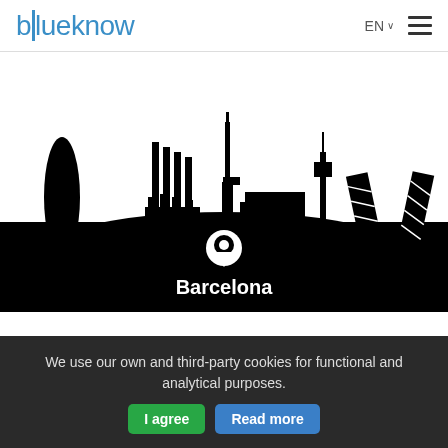blueknow
[Figure (illustration): City skyline silhouette in black and white showing Barcelona and Madrid landmarks including Sagrada Familia, Torre de Collserola, and Torres KIO. A white location pin icon and the text 'Barcelona' appear over the black silhouette area.]
We use our own and third-party cookies for functional and analytical purposes.
I agree
Read more